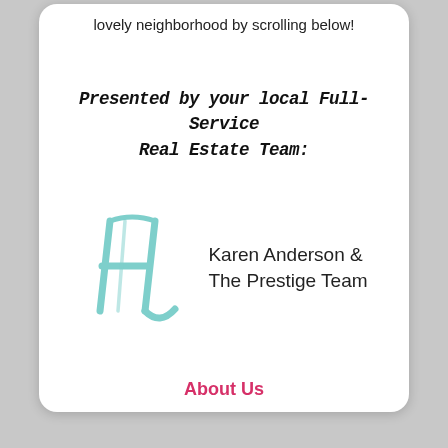lovely neighborhood by scrolling below!
Presented by your local Full-Service Real Estate Team:
[Figure (logo): Stylized teal/mint colored logo with overlapping letter forms resembling 'H' and 'L' or similar monogram, for Karen Anderson & The Prestige Team]
Karen Anderson &
The Prestige Team
About Us